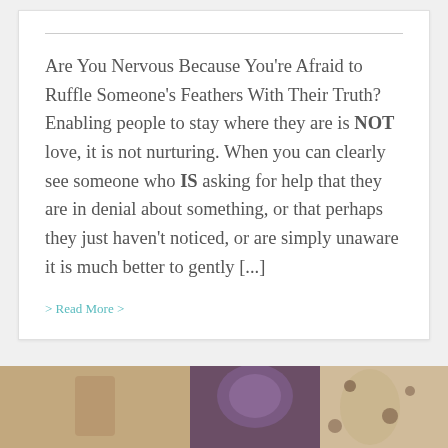Are You Nervous Because You're Afraid to Ruffle Someone's Feathers With Their Truth? Enabling people to stay where they are is NOT love, it is not nurturing. When you can clearly see someone who IS asking for help that they are in denial about something, or that perhaps they just haven't noticed, or are simply unaware it is much better to gently [...]
> Read More >
[Figure (photo): Partial photo of a person with purple hair and illustrated/patterned background, cropped at bottom of page.]